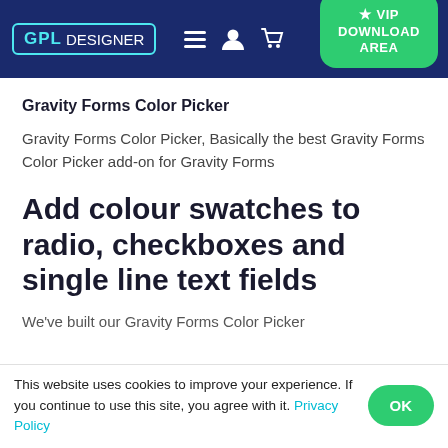GPL DESIGNER — VIP DOWNLOAD AREA
Gravity Forms Color Picker
Gravity Forms Color Picker, Basically the best Gravity Forms Color Picker add-on for Gravity Forms
Add colour swatches to radio, checkboxes and single line text fields
We've built our Gravity Forms Color Picker
This website uses cookies to improve your experience. If you continue to use this site, you agree with it. Privacy Policy